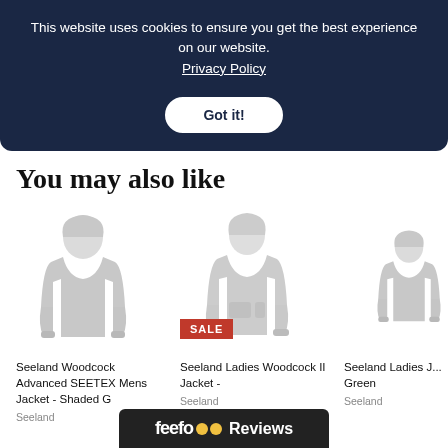This website uses cookies to ensure you get the best experience on our website. Privacy Policy
Got it!
You may also like
[Figure (photo): Seeland Woodcock Advanced SEETEX Mens Jacket - Shaded Grey product image]
Seeland Woodcock Advanced SEETEX Mens Jacket - Shaded G...
Seeland
[Figure (photo): Seeland Ladies Woodcock II Jacket with SALE badge]
Seeland Ladies Woodcock II Jacket -
Seeland
[Figure (photo): Seeland Ladies Jacket - Green, partially visible]
Seeland Ladies J... Green
Seeland
[Figure (logo): Feefo Reviews badge at bottom of page]